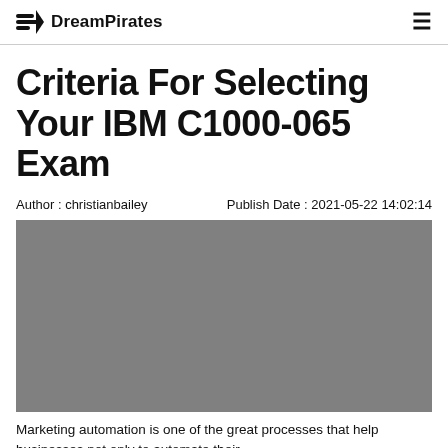DreamPirates
Criteria For Selecting Your IBM C1000-065 Exam
Author : christianbailey    Publish Date : 2021-05-22 14:02:14
[Figure (photo): Gray placeholder image for the article]
Marketing automation is one of the great processes that help businesses not only to automate their